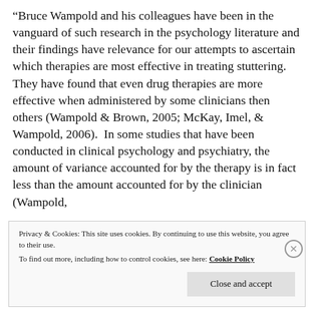“Bruce Wampold and his colleagues have been in the vanguard of such research in the psychology literature and their findings have relevance for our attempts to ascertain which therapies are most effective in treating stuttering.  They have found that even drug therapies are more effective when administered by some clinicians then others (Wampold & Brown, 2005; McKay, Imel, & Wampold, 2006).  In some studies that have been conducted in clinical psychology and psychiatry, the amount of variance accounted for by the therapy is in fact less than the amount accounted for by the clinician (Wampold,
Privacy & Cookies: This site uses cookies. By continuing to use this website, you agree to their use.
To find out more, including how to control cookies, see here: Cookie Policy